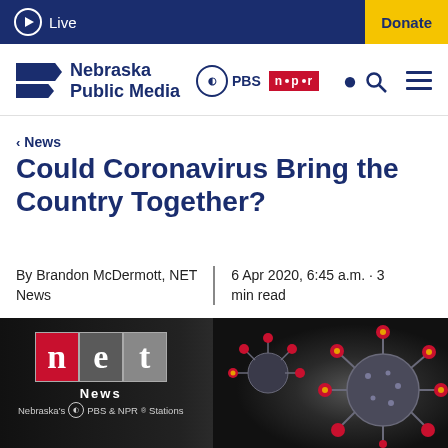Live | Donate
[Figure (logo): Nebraska Public Media logo with PBS and NPR partner logos, search and menu icons]
< News
Could Coronavirus Bring the Country Together?
By Brandon McDermott, NET News | 6 Apr 2020, 6:45 a.m. · 3 min read
[Figure (photo): NET News logo with Nebraska's PBS & NPR Stations text on dark background, beside a 3D illustration of coronavirus particles]